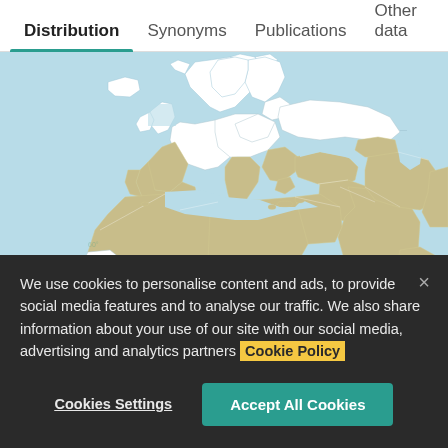Distribution | Synonyms | Publications | Other data
[Figure (map): Interactive world map showing species distribution. Europe highlighted in white/light, Mediterranean, North Africa and Middle East shown in olive/green, surrounding sea areas in light blue. Map centered on Europe and Middle East region.]
We use cookies to personalise content and ads, to provide social media features and to analyse our traffic. We also share information about your use of our site with our social media, advertising and analytics partners Cookie Policy
Cookies Settings
Accept All Cookies